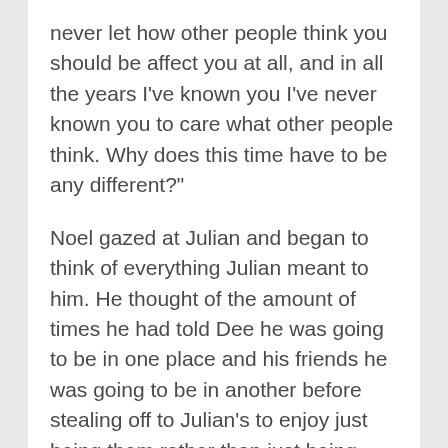never let how other people think you should be affect you at all, and in all the years I've known you I've never known you to care what other people think. Why does this time have to be any different?"
Noel gazed at Julian and began to think of everything Julian meant to him. He thought of the amount of times he had told Dee he was going to be in one place and his friends he was going to be in another before stealing off to Julian's to enjoy just being them rather than just being Boosh. Noel thought back to the NME interview they had done a couple of months ago where he had got himself into such a state and Dee had bundled him off into the back of taxi to look after him and how badly